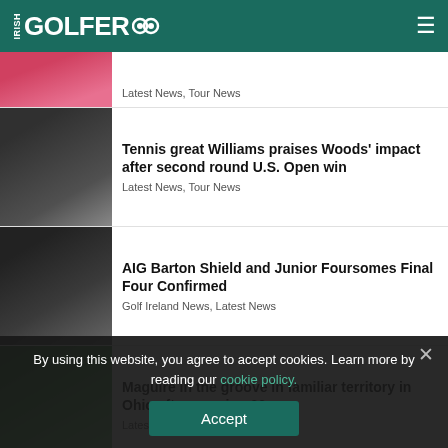IRISH GOLFER
Latest News, Tour News
Tennis great Williams praises Woods' impact after second round U.S. Open win
Latest News, Tour News
AIG Barton Shield and Junior Foursomes Final Four Confirmed
Golf Ireland News, Latest News
Maguire in the groove in familiar territory in Ohio after opening 66
Latest News, Tour News
By using this website, you agree to accept cookies. Learn more by reading our cookie policy.